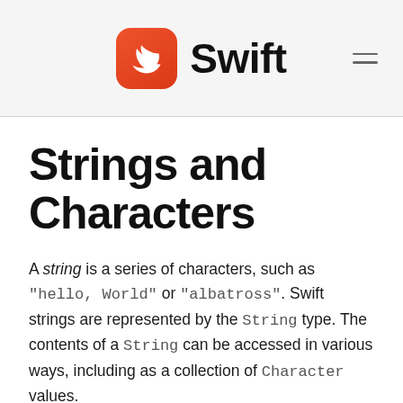Swift
Strings and Characters
A string is a series of characters, such as "hello, World" or "albatross". Swift strings are represented by the String type. The contents of a String can be accessed in various ways, including as a collection of Character values.